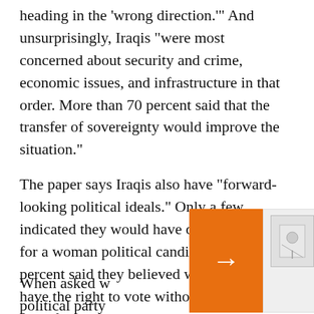heading in the 'wrong direction.'" And unsurprisingly, Iraqis "were most concerned about security and crime, economic issues, and infrastructure in that order. More than 70 percent said that the transfer of sovereignty would improve the situation."
The paper says Iraqis also have "forward-looking political ideals." Only a few indicated they would have difficulty voting for a woman political candidate; "85 percent said they believed women should have the right to vote without interference from family m[embers...] women should [...] civil and legal [...]
When asked w[hether they preferred a] political party[...]
[Figure (other): Orange navigation arrow overlay and related article thumbnail with text: 'The School Is Not The Walls': Its Building Destroyed And Its City Occupied, A Learning Center Lives On In Ukraine]